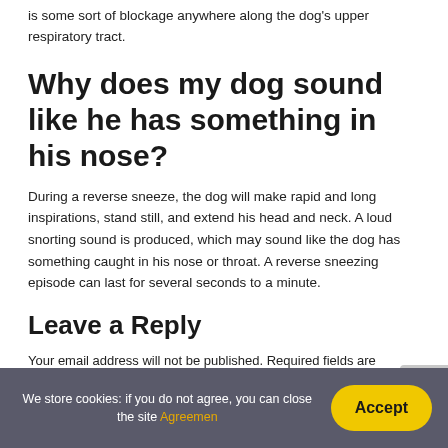is some sort of blockage anywhere along the dog's upper respiratory tract.
Why does my dog sound like he has something in his nose?
During a reverse sneeze, the dog will make rapid and long inspirations, stand still, and extend his head and neck. A loud snorting sound is produced, which may sound like the dog has something caught in his nose or throat. A reverse sneezing episode can last for several seconds to a minute.
Leave a Reply
Your email address will not be published. Required fields are marked *
Comment
We store cookies: if you do not agree, you can close the site Agreemen